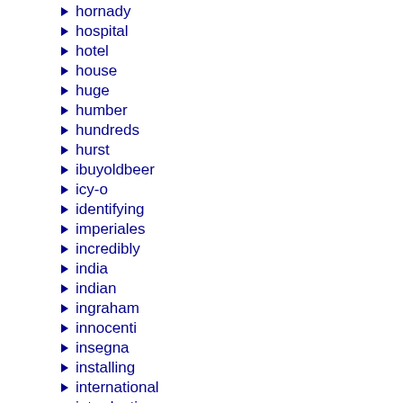hornady
hospital
hotel
house
huge
humber
hundreds
hurst
ibuyoldbeer
icy-o
identifying
imperiales
incredibly
india
indian
ingraham
innocenti
insegna
installing
international
introduction
irontrap
iroquois